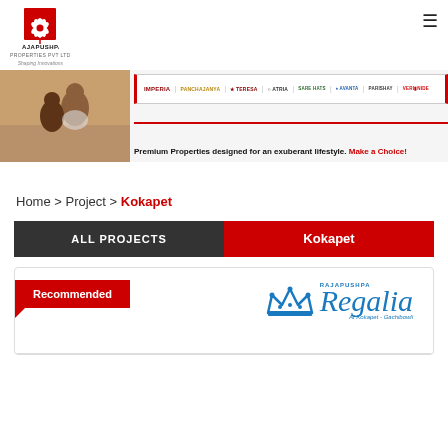[Figure (logo): Rajapushpa Properties Pvt Ltd logo with lotus/flower icon, company name, and tagline 'Shaping Innovations']
[Figure (infographic): Website banner showing a couple on a sofa, project brand logos strip (Imperia, Panchajanya, Teresa, Atria, Sare Hats, Avanta, Parishay, Verinade), and caption 'Premium Properties designed for an exuberant lifestyle. Make a Choice!']
Home > Project > Kokapet
ALL PROJECTS | Kokapet
[Figure (logo): Recommended badge with Rajapushpa Regalia logo in blue script with crown icon, subtitle 'At Kokapet - Gachibowli']